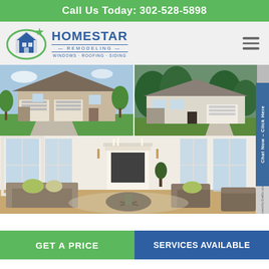Call Us Today: 302-528-5898
[Figure (logo): HomeStar Remodeling logo with house icon and green star, text reads HOMESTAR REMODELING WINDOWS · ROOFING · SIDING]
[Figure (photo): Two exterior house photos side by side: left shows a large two-story stone and siding home with green lawn; right shows a single-story ranch-style home with trees in background]
[Figure (photo): Interior living room with large windows, fireplace, couches with green accent pillows, and chairs]
Chat Now – Click Here
GET A PRICE
SERVICES AVAILABLE